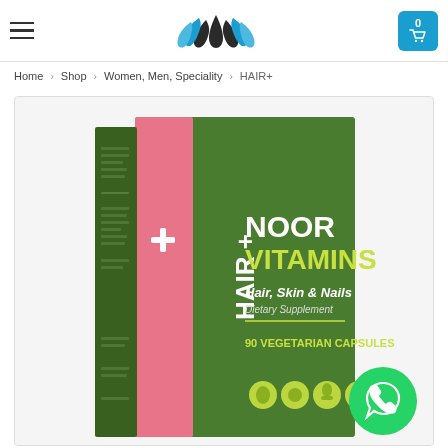unimax pharmaceutical — navigation header with hamburger menu and cart
Home > Shop > Women, Men, Speciality > HAIR+
[Figure (photo): Product photo of Noor Vitamins HAIR+ Hair, Skin & Nails Dietary Supplement, 90 Vegetarian Capsules — green box with pink spine panel showing HAIR+ branding]